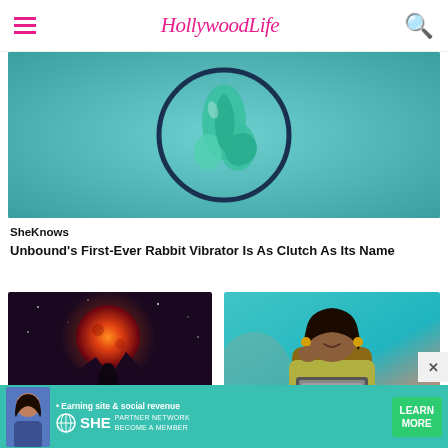HollywoodLife
[Figure (photo): Product image of a teal rabbit vibrator on a teal background with a dark circular ring]
SheKnows
Unbound's First-Ever Rabbit Vibrator Is As Clutch As Its Name
[Figure (photo): Woman silhouetted against large red/orange blood moon in dark purple starry sky with mountain silhouettes]
StyleCaster
[Figure (photo): Smiling Black woman with gold hoop earrings looking at laptop against teal background]
Blogher
[Figure (infographic): SHE Media advertisement banner: Earning site and social revenue. SHE PARTNER NETWORK BECOME A MEMBER. LEARN MORE button.]